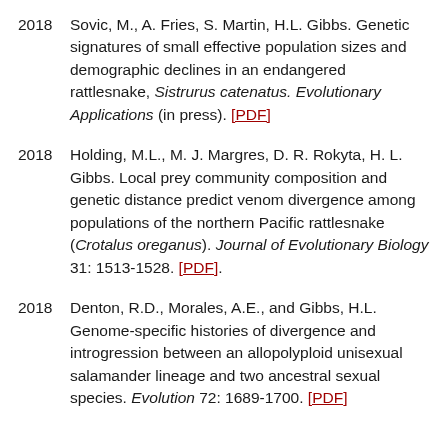2018   Sovic, M., A. Fries, S. Martin, H.L. Gibbs. Genetic signatures of small effective population sizes and demographic declines in an endangered rattlesnake, Sistrurus catenatus. Evolutionary Applications (in press). [PDF]
2018   Holding, M.L., M. J. Margres, D. R. Rokyta, H. L. Gibbs. Local prey community composition and genetic distance predict venom divergence among populations of the northern Pacific rattlesnake (Crotalus oreganus). Journal of Evolutionary Biology 31: 1513-1528. [PDF].
2018   Denton, R.D., Morales, A.E., and Gibbs, H.L. Genome-specific histories of divergence and introgression between an allopolyploid unisexual salamander lineage and two ancestral sexual species. Evolution 72: 1689-1700. [PDF]